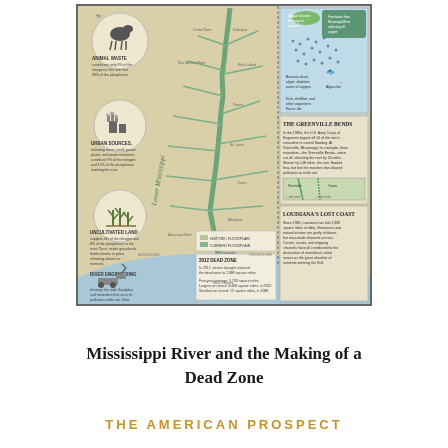[Figure (infographic): Infographic map of the Mississippi River showing pollution sources (animal waste, urban sources, uncultivated land, river engineering), the river's path from north to south to the Gulf of Mexico, the Gulf Dead Zone, the Greenville Bends, and Louisiana's Lost Coast. Includes legend for historic and current floodplain, and inset diagrams showing hypoxia effects and coastal map.]
Mississippi River and the Making of a Dead Zone
THE AMERICAN PROSPECT